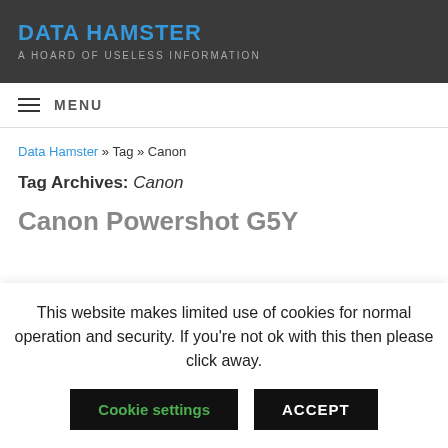DATA HAMSTER — A HOARD OF USELESS INFORMATION
MENU
Data Hamster » Tag » Canon
Tag Archives: Canon
Canon Powershot G5Y
This website makes limited use of cookies for normal operation and security. If you're not ok with this then please click away.